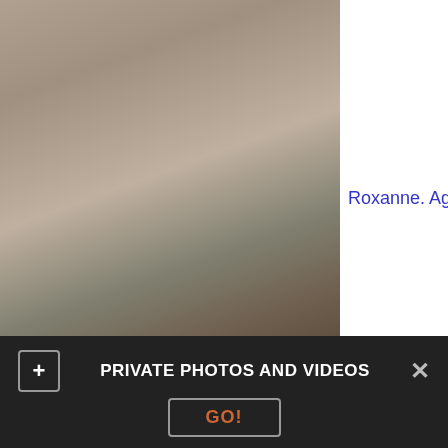[Figure (photo): Photo of a woman named Roxanne posing in black lingerie and fishnet stockings with high heels, in a bedroom setting]
Roxanne. Age:
PRIVATE PHOTOS AND VIDEOS
GO!